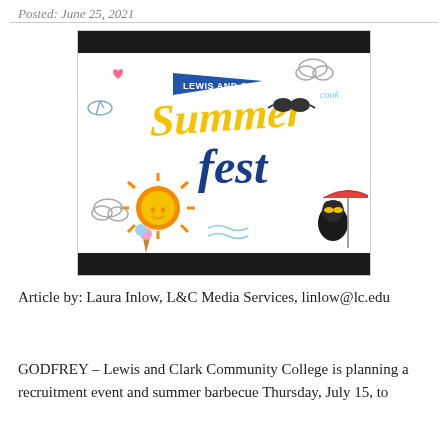Posted: June 25, 2021
[Figure (illustration): Lewis and Clark Summerfest event graphic with colorful summer-themed cartoon artwork including a sun, ice cream, clouds, a dog in sunglasses, and playful text reading 'Lewis and Clark SummerFest']
Article by: Laura Inlow, L&C Media Services, linlow@lc.edu
GODFREY – Lewis and Clark Community College is planning a recruitment event and summer barbecue Thursday, July 15, to